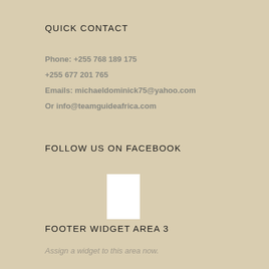QUICK CONTACT
Phone: +255 768 189 175
+255 677 201 765
Emails: michaeldominick75@yahoo.com
Or info@teamguideafrica.com
FOLLOW US ON FACEBOOK
[Figure (other): White rectangle placeholder box]
FOOTER WIDGET AREA 3
Assign a widget to this area now.